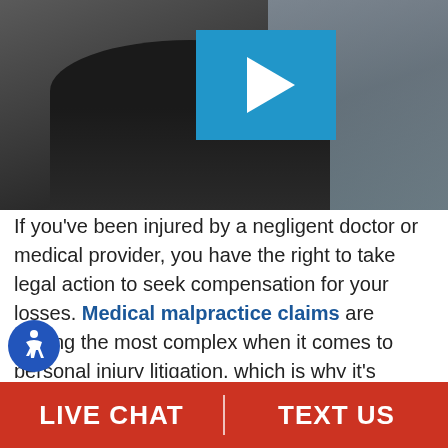[Figure (screenshot): Video thumbnail showing a lawyer in a suit and tie with a blue play button overlay. City background visible.]
If you've been injured by a negligent doctor or medical provider, you have the right to take legal action to seek compensation for your losses. Medical malpractice claims are among the most complex when it comes to personal injury litigation, which is why it's imperative to work with an experienced law firm. Your lawyer will be to answer all your legal questions, including how it will take to settle your claim.
LIVE CHAT   TEXT US